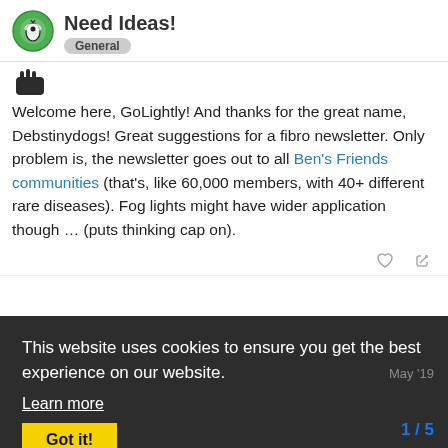Need Ideas! General
[Figure (logo): Green circular logo with insect/bee icon]
[Figure (illustration): Small avatar image showing a dark icon with spikes/crown shape]
Welcome here, GoLightly! And thanks for the great name, Debstinydogs! Great suggestions for a fibro newsletter. Only problem is, the newsletter goes out to all Ben's Friends communities (that's, like 60,000 members, with 40+ different rare diseases). Fog lights might have wider application though … (puts thinking cap on).
This website uses cookies to ensure you get the best experience on our website.
Learn more
Got it!
GoLightly
May '19
Oh gosh, how self-centered of me to just think about fibromyagia! Let's blame it on the fact that I'm a newbie. I feel like I owe you some newsletter suggestions or my karma won't balance.
OK. Thinking cap on. Not sure this one w
1 / 5